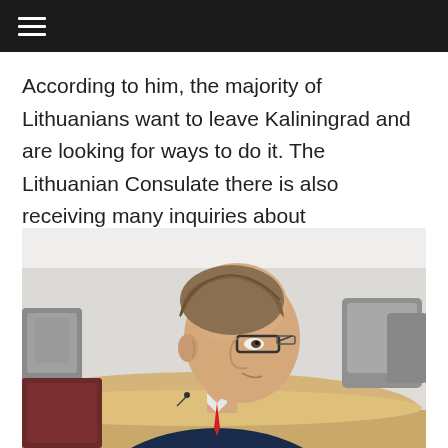≡ (navigation menu)
According to him, the majority of Lithuanians want to leave Kaliningrad and are looking for ways to do it. The Lithuanian Consulate there is also receiving many inquiries about re-establishing Lithuanian citizenship since Russia's invasion of Ukraine.
[Figure (photo): A middle-aged man with light brown hair and glasses, wearing a dark suit jacket, photographed from the side in what appears to be a parliamentary or official meeting room with curved wooden desks and grey chairs in the background.]